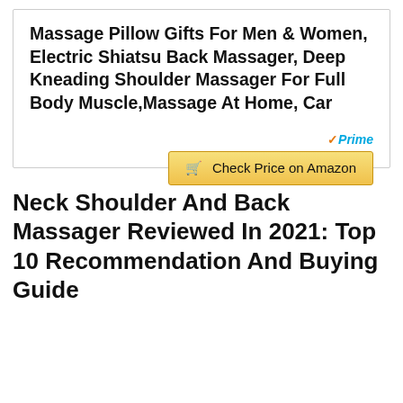Massage Pillow Gifts For Men & Women, Electric Shiatsu Back Massager, Deep Kneading Shoulder Massager For Full Body Muscle,Massage At Home, Car
[Figure (other): Amazon Prime logo with checkmark and 'Check Price on Amazon' button]
Neck Shoulder And Back Massager Reviewed In 2021: Top 10 Recommendation And Buying Guide